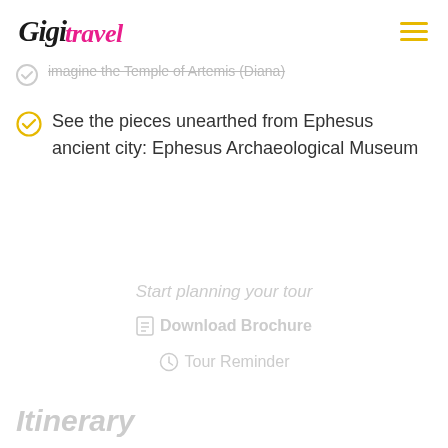Gigi Travel
imagine the Temple of Artemis (Diana)
See the pieces unearthed from Ephesus ancient city: Ephesus Archaeological Museum
Start planning your tour
Download Brochure
Tour Reminder
Itinerary